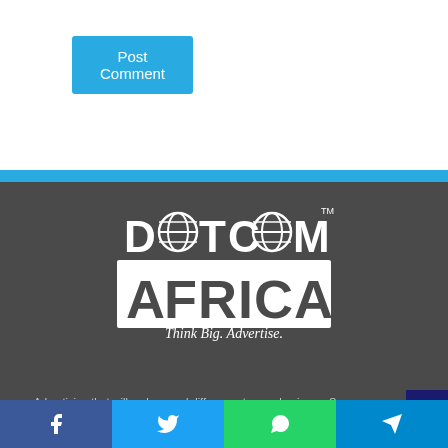Post Comment
[Figure (logo): DotCom Africa logo with globe icons and tagline 'Think Big. Advertise.']
Advertising that will make a real difference to your business. So, you have a fantastic offering and a clear roadmap for company growth – Your business is ready to take the next step. How do you get your information in front of a wider audience? What is the best way to achieve your business objectives? The answer is simple: Dotcom Africa! Our job is to get you more traffic, more customers and more sales. We use metrics to define success. We work with you to make a real difference
Facebook | Twitter | WhatsApp | Telegram